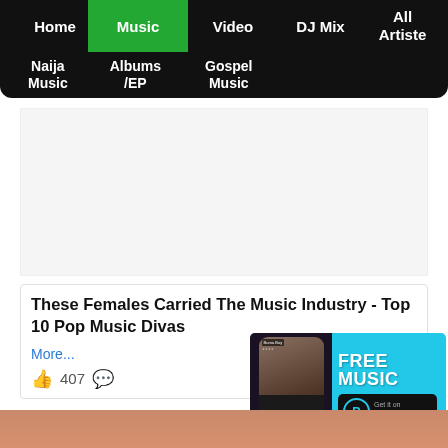Home | Music | Video | DJ Mix | All Artiste | Naija Music | Albums /EP | Gospel Music
[Figure (other): Advertisement/blank space area]
These Females Carried The Music Industry - Top 10 Pop Music Divas
More...
407
[Figure (other): Boomplay FREE MUSIC banner ad with Burna Boy phone mockup and Boomplay logo]
[Figure (photo): Partial photo at bottom of page]